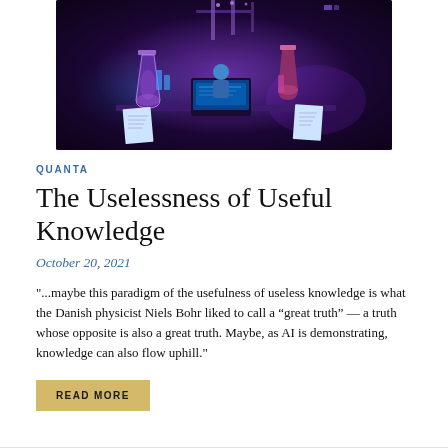[Figure (illustration): Dark purple/indigo illustration of a scientist working at a laptop in a laboratory setting with glowing flasks, lab equipment, and floating paper documents, rendered in a digital art style with blue and purple tones.]
QUANTA
The Uselessness of Useful Knowledge
October 20, 2021
"...maybe this paradigm of the usefulness of useless knowledge is what the Danish physicist Niels Bohr liked to call a “great truth” — a truth whose opposite is also a great truth. Maybe, as AI is demonstrating, knowledge can also flow uphill."
READ MORE